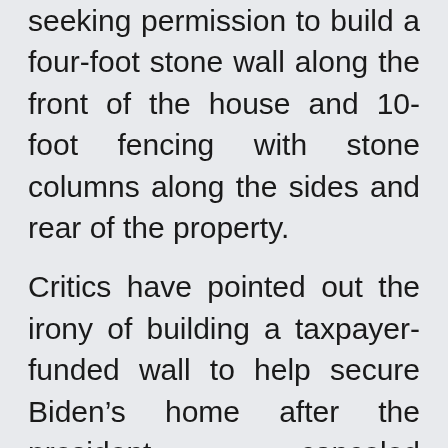seeking permission to build a four-foot stone wall along the front of the house and 10-foot fencing with stone columns along the sides and rear of the property.
Critics have pointed out the irony of building a taxpayer-funded wall to help secure Biden’s home after the president canceled construction of a wall at the southern US border. He called the border wall a “waste of money” and said it wasn’t a “serious policy solution.”